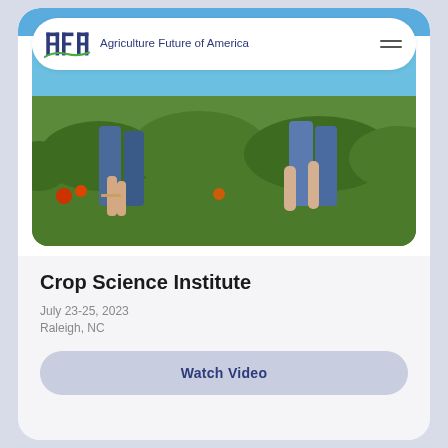[Figure (logo): Agriculture Future of America (AFA) logo with stylized letters AFA and green swoosh]
[Figure (photo): People bending over crop plants in a field, tomatoes visible, blue sky background]
Crop Science Institute
July 23-25, 2023
Raleigh, NC
Watch Video